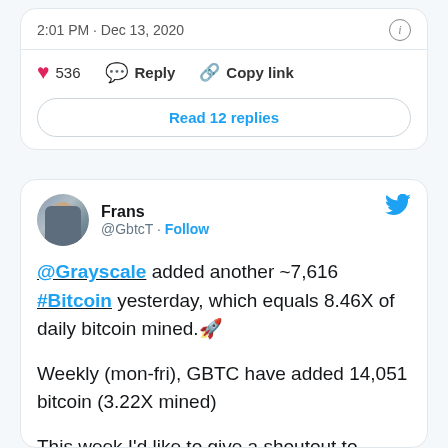2:01 PM · Dec 13, 2020
536  Reply  Copy link
Read 12 replies
Frans @GbtcT · Follow
@Grayscale added another ~7,616 #Bitcoin yesterday, which equals 8.46X of daily bitcoin mined. 🚀

Weekly (mon-fri), GBTC have added 14,051 bitcoin (3.22X mined)

This week I'd like to give a shoutout to @RaoulGMI and @realvision. Their free crypto tier is superb. Check it out.